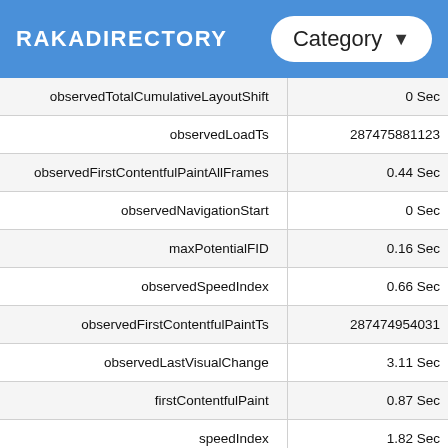RAKADIRECTORY
| Key | Value |
| --- | --- |
| observedTotalCumulativeLayoutShift | 0 Sec |
| observedLoadTs | 287475881123 |
| observedFirstContentfulPaintAllFrames | 0.44 Sec |
| observedNavigationStart | 0 Sec |
| maxPotentialFID | 0.16 Sec |
| observedSpeedIndex | 0.66 Sec |
| observedFirstContentfulPaintTs | 287474954031 |
| observedLastVisualChange | 3.11 Sec |
| firstContentfulPaint | 0.87 Sec |
| speedIndex | 1.82 Sec |
| observedCumulativeLayoutShiftMainFrame | 0 Sec |
| observedFirstContentfulPaintAllFramesTs | 287474954031 |
| observedFirstContentfulPaint | 0.44 Sec |
| observedTraceEnd | 5.39 Sec |
| observedFirstMeaningfulPaint | 0.44 Sec |